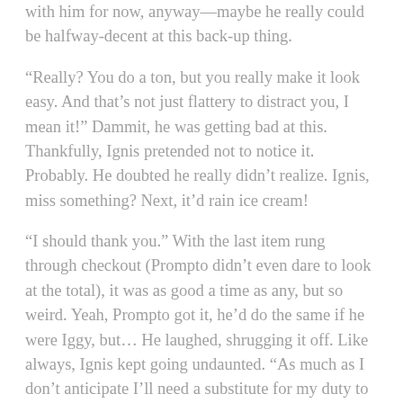with him for now, anyway—maybe he really could be halfway-decent at this back-up thing.
“Really? You do a ton, but you really make it look easy. And that’s not just flattery to distract you, I mean it!” Dammit, he was getting bad at this. Thankfully, Ignis pretended not to notice it. Probably. He doubted he really didn’t realize. Ignis, miss something? Next, it’d rain ice cream!
“I should thank you.” With the last item rung through checkout (Prompto didn’t even dare to look at the total), it was as good a time as any, but so weird. Yeah, Prompto got it, he’d do the same if he were Iggy, but… He laughed, shrugging it off. Like always, Ignis kept going undaunted. “As much as I don’t anticipate I’ll need a substitute for my duty to